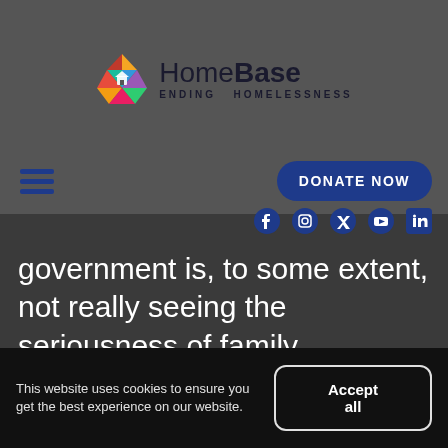[Figure (logo): HomeBase Ending Homelessness logo with colorful diamond/house icon]
HomeBase ENDING HOMELESSNESS
government is, to some extent, not really seeing the seriousness of family homelessness," Dumbuya-Sesay told Cabin Radio at the time.
“Many people are finding themselves in unsafe situations because they don’t
This website uses cookies to ensure you get the best experience on our website.